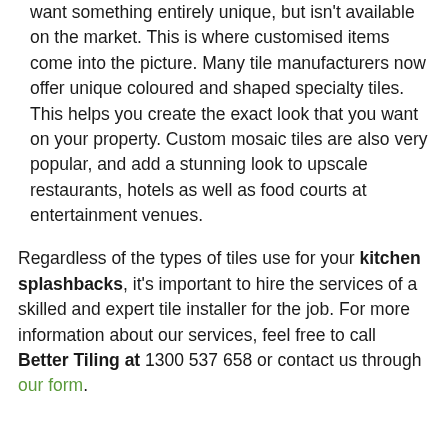want something entirely unique, but isn't available on the market. This is where customised items come into the picture. Many tile manufacturers now offer unique coloured and shaped specialty tiles. This helps you create the exact look that you want on your property. Custom mosaic tiles are also very popular, and add a stunning look to upscale restaurants, hotels as well as food courts at entertainment venues.
Regardless of the types of tiles use for your kitchen splashbacks, it's important to hire the services of a skilled and expert tile installer for the job. For more information about our services, feel free to call Better Tiling at 1300 537 658 or contact us through our form.